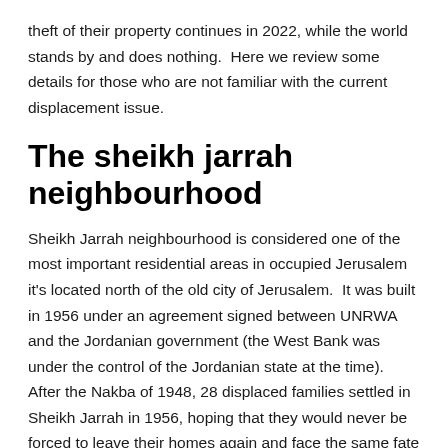theft of their property continues in 2022, while the world stands by and does nothing.  Here we review some details for those who are not familiar with the current displacement issue.
The sheikh jarrah neighbourhood
Sheikh Jarrah neighbourhood is considered one of the most important residential areas in occupied Jerusalem it's located north of the old city of Jerusalem.  It was built in 1956 under an agreement signed between UNRWA and the Jordanian government (the West Bank was under the control of the Jordanian state at the time).  After the Nakba of 1948, 28 displaced families settled in Sheikh Jarrah in 1956, hoping that they would never be forced to leave their homes again and face the same fate they faced in 1950 Nevertheless, the Israeli courts approved the decision to